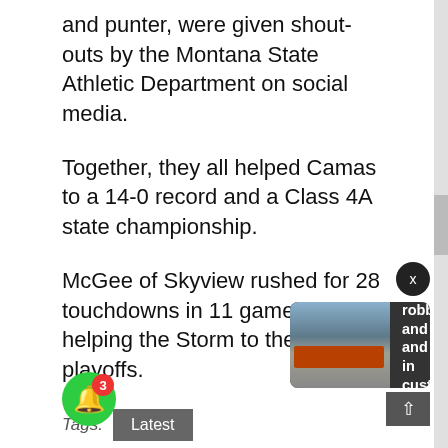and punter, were given shout-outs by the Montana State Athletic Department on social media.
Together, they all helped Camas to a 14-0 record and a Class 4A state championship.
McGee of Skyview rushed for 28 touchdowns in 11 games, helping the Storm to the state playoffs.
Tags: Latest
share
[Figure (screenshot): Notification popup with image of a train/building and text: Suspect in robbery and hit and run in custody, 14 hours ago]